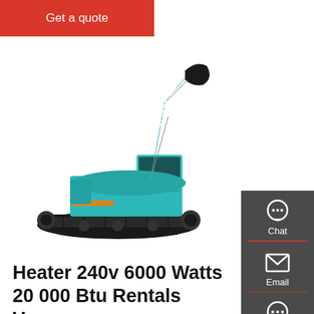Get a quote
[Figure (photo): Teal/turquoise Sunward crawler excavator on white background, facing left with arm raised and bucket visible]
[Figure (infographic): Dark gray vertical contact panel with Chat (headset icon), Email (envelope icon), and Contact (speech bubble icon) options separated by red dividers]
Heater 240v 6000 Watts 20 000 Btu Rentals Vancouver
The E6 is a 240V unit and pulls 25 amps. This means it will run flawlessly off a regular clothing dryer outlet. Make sure